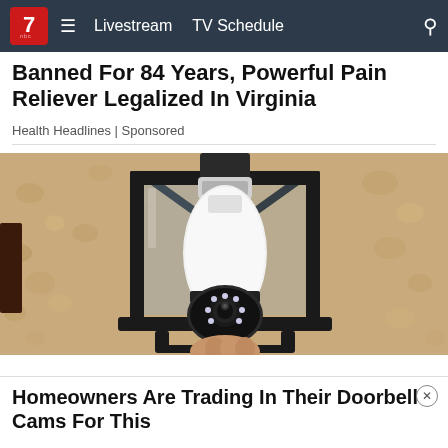7 NBC — Livestream  TV Schedule
Banned For 84 Years, Powerful Pain Reliever Legalized In Virginia
Health Headlines | Sponsored
[Figure (photo): A security camera shaped like a light bulb installed inside a black outdoor lantern fixture mounted on a textured stucco wall]
Homeowners Are Trading In Their Doorbell Cams For This